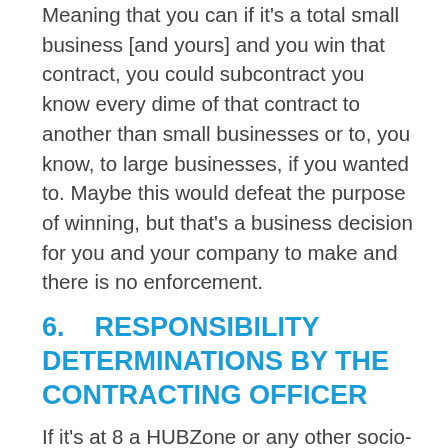Meaning that you can if it's a total small business [and yours] and you win that contract, you could subcontract you know every dime of that contract to another than small businesses or to, you know, to large businesses, if you wanted to. Maybe this would defeat the purpose of winning, but that's a business decision for you and your company to make and there is no enforcement.
6.    RESPONSIBILITY DETERMINATIONS BY THE CONTRACTING OFFICER
If it's at 8 a HUBZone or any other socio-economic set aside then the case law demonstrates that it is up to the Contracting Officer to enforce the limitations in subcontracting. But an important fact is that some cases have demonstrated that if you if on the face of your